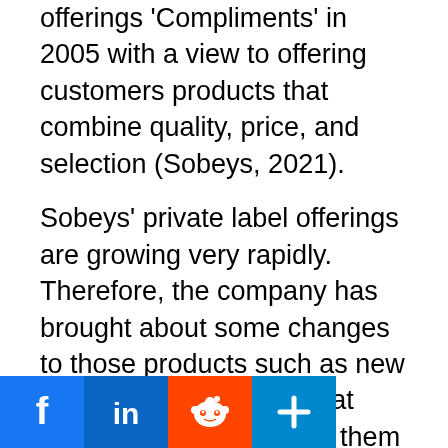offerings 'Compliments' in 2005 with a view to offering customers products that combine quality, price, and selection (Sobeys, 2021).
Sobeys' private label offerings are growing very rapidly. Therefore, the company has brought about some changes to those products such as new looks and graphics so that customers may perceive them as similar and equivalent to national brands. It offers 100% Guarantee meaning that if customers are not 100% satisfied, they can bring the products back to a store within 14 days of purchase and ask for a
[Figure (infographic): Social media share buttons: Facebook (blue), LinkedIn (blue), Reddit (orange), and a share/add button (blue)]